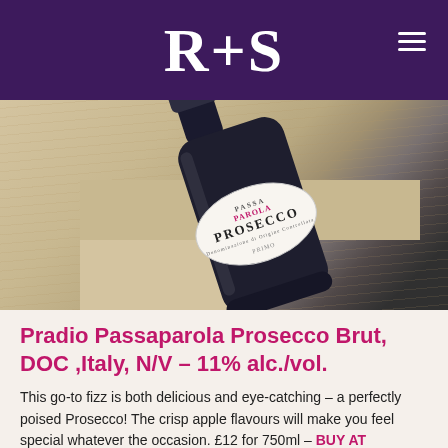R+S
[Figure (photo): A bottle of Pradio Passaparola Prosecco lying on its side on a light wood surface. The bottle is dark green/black with a white oval label reading PASSAPAROLA PROSECCO PRIMO.]
Pradio Passaparola Prosecco Brut, DOC ,Italy, N/V – 11% alc./vol.
This go-to fizz is both delicious and eye-catching – a perfectly poised Prosecco! The crisp apple flavours will make you feel special whatever the occasion. £12 for 750ml – BUY AT RUTABAGA